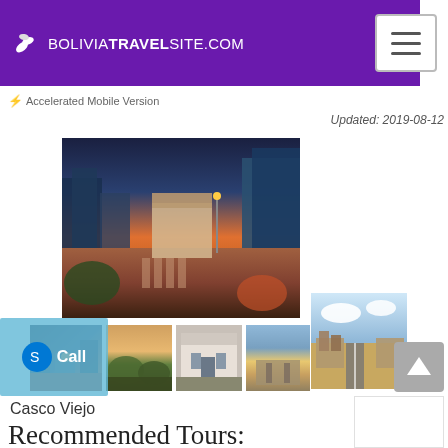BOLIVIATRAVELSITE.COM
⚡ Accelerated Mobile Version
Updated: 2019-08-12
[Figure (photo): Aerial view of Casco Viejo city square at sunset with colonial buildings and brick plaza]
[Figure (photo): Four thumbnail photos of Casco Viejo: street scene, green landscape, white colonial building, aerial city view]
Casco Viejo
Recommended Tours: